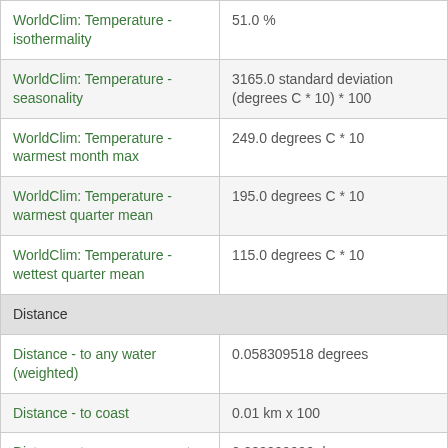| Variable | Value |
| --- | --- |
| WorldClim: Temperature - isothermality | 51.0 % |
| WorldClim: Temperature - seasonality | 3165.0 standard deviation (degrees C * 10) * 100 |
| WorldClim: Temperature - warmest month max | 249.0 degrees C * 10 |
| WorldClim: Temperature - warmest quarter mean | 195.0 degrees C * 10 |
| WorldClim: Temperature - wettest quarter mean | 115.0 degrees C * 10 |
| Distance |  |
| Distance - to any water (weighted) | 0.058309518 degrees |
| Distance - to coast | 0.01 km x 100 |
| Distance - to non-permanent water (weighted) | 0.089999996 degrees |
| Distance - to permanent water (weighted) | 0.058309518 km |